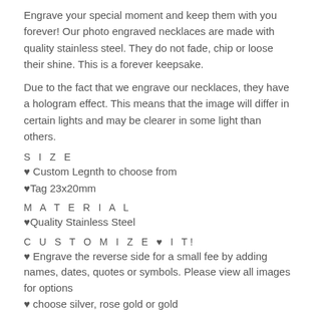Engrave your special moment and keep them with you forever! Our photo engraved necklaces are made with quality stainless steel. They do not fade, chip or loose their shine. This is a forever keepsake.
Due to the fact that we engrave our necklaces, they have a hologram effect. This means that the image will differ in certain lights and may be clearer in some light than others.
S I Z E
♥ Custom Legnth to choose from
♥Tag 23x20mm
M A T E R I A L
♥Quality Stainless Steel
C U S T O M I Z E ♥ I T!
♥ Engrave the reverse side for a small fee by adding names, dates, quotes or symbols. Please view all images for options
♥ choose silver, rose gold or gold
♥ For single side engraving you can add photo and words
♥ Choose from our font options and symbols to add.